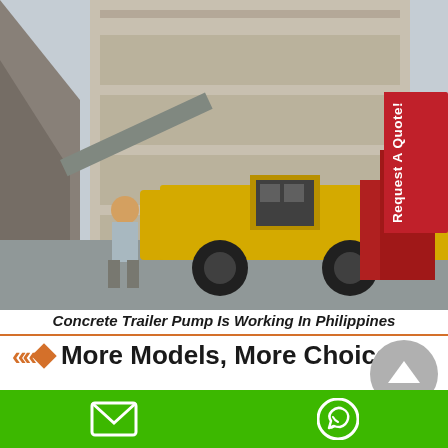[Figure (photo): A yellow concrete trailer pump working at a construction site in the Philippines. A worker in a yellow hard hat stands beside the pump. A multi-story concrete building under construction is visible in the background. Red equipment/containers are to the right.]
Concrete Trailer Pump Is Working In Philippines
More Models, More Choices
[Figure (other): Gray circular back-to-top arrow button]
Email and WhatsApp contact icons on green footer bar